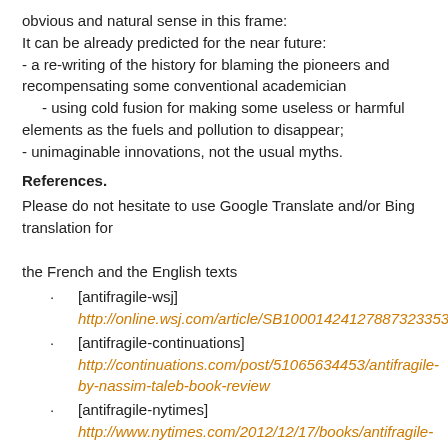obvious and natural sense in this frame:
It can be already predicted for the near future:
- a re-writing of the history for blaming the pioneers and recompensating some conventional academician
    - using cold fusion for making some useless or harmful elements as the fuels and pollution to disappear;
- unimaginable innovations, not the usual myths.
References.
Please do not hesitate to use Google Translate and/or Bing translation for the French and the English texts
[antifragile-wsj]
http://online.wsj.com/article/SB10001424127887323353204578128872051100906.html
[antifragile-continuations]
http://continuations.com/post/51065634453/antifragile-by-nassim-taleb-book-review
[antifragile-nytimes]
http://www.nytimes.com/2012/12/17/books/antifragile-by-nassim-nicholas-taleb.html?pagewanted=all&_r=0
[antifragile-dunbar]